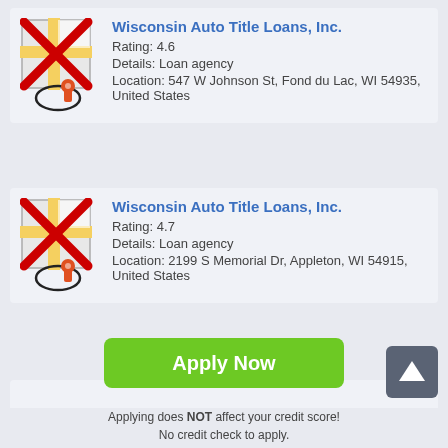[Figure (infographic): Map icon with red X overlay and location pin, for Wisconsin Auto Title Loans listing 1]
Wisconsin Auto Title Loans, Inc.
Rating: 4.6
Details: Loan agency
Location: 547 W Johnson St, Fond du Lac, WI 54935, United States
[Figure (infographic): Map icon with red X overlay and location pin, for Wisconsin Auto Title Loans listing 2]
Wisconsin Auto Title Loans, Inc.
Rating: 4.7
Details: Loan agency
Location: 2199 S Memorial Dr, Appleton, WI 54915, United States
[Figure (infographic): Scroll up button arrow icon]
Apply Now
Applying does NOT affect your credit score! No credit check to apply.